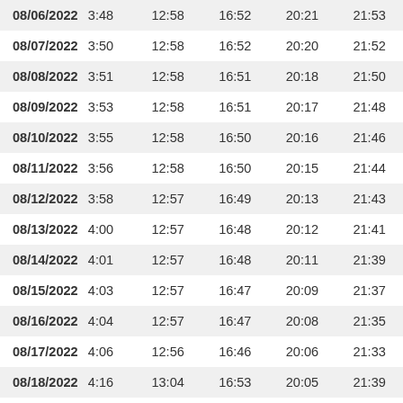| Date | Col1 | Col2 | Col3 | Col4 | Col5 |
| --- | --- | --- | --- | --- | --- |
| 08/06/2022 | 3:48 | 12:58 | 16:52 | 20:21 | 21:53 |
| 08/07/2022 | 3:50 | 12:58 | 16:52 | 20:20 | 21:52 |
| 08/08/2022 | 3:51 | 12:58 | 16:51 | 20:18 | 21:50 |
| 08/09/2022 | 3:53 | 12:58 | 16:51 | 20:17 | 21:48 |
| 08/10/2022 | 3:55 | 12:58 | 16:50 | 20:16 | 21:46 |
| 08/11/2022 | 3:56 | 12:58 | 16:50 | 20:15 | 21:44 |
| 08/12/2022 | 3:58 | 12:57 | 16:49 | 20:13 | 21:43 |
| 08/13/2022 | 4:00 | 12:57 | 16:48 | 20:12 | 21:41 |
| 08/14/2022 | 4:01 | 12:57 | 16:48 | 20:11 | 21:39 |
| 08/15/2022 | 4:03 | 12:57 | 16:47 | 20:09 | 21:37 |
| 08/16/2022 | 4:04 | 12:57 | 16:47 | 20:08 | 21:35 |
| 08/17/2022 | 4:06 | 12:56 | 16:46 | 20:06 | 21:33 |
| 08/18/2022 | 4:16 | 13:04 | 16:53 | 20:05 | 21:39 |